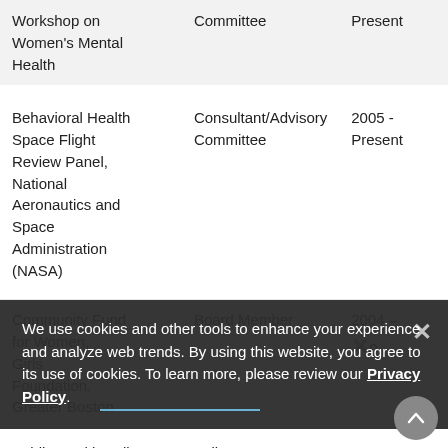|  |  |  |
| --- | --- | --- |
| Workshop on Women's Mental Health | Committee | Present |
| Behavioral Health Space Flight Review Panel, National Aeronautics and Space Administration (NASA) | Consultant/Advisory Committee | 2005 - Present |
| Community Fund for Women, Girls Foundation, Greater Boston | Board Member | 2004 - 2010 |
| Public Health Policy | Fellow | 2004 - |
We use cookies and other tools to enhance your experience and analyze web trends. By using this website, you agree to its use of cookies. To learn more, please review our Privacy Policy.